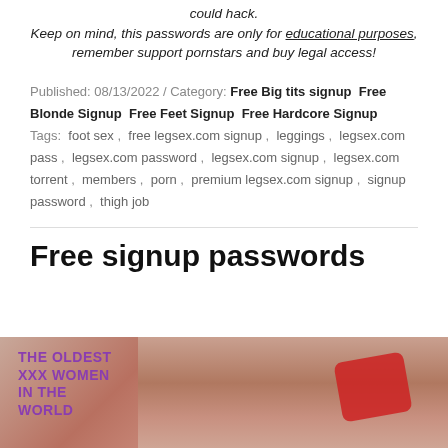could hack. Keep on mind, this passwords are only for educational purposes, remember support pornstars and buy legal access!
Published: 08/13/2022 / Category: Free Big tits signup  Free Blonde Signup  Free Feet Signup  Free Hardcore Signup  Tags: foot sex ,  free legsex.com signup ,  leggings ,  legsex.com pass ,  legsex.com password ,  legsex.com signup ,  legsex.com torrent ,  members ,  porn ,  premium legsex.com signup ,  signup password ,  thigh job
Free signup passwords
[Figure (photo): Photo with text overlay reading THE OLDEST XXX WOMEN IN THE WORLD in purple, with adult content imagery]